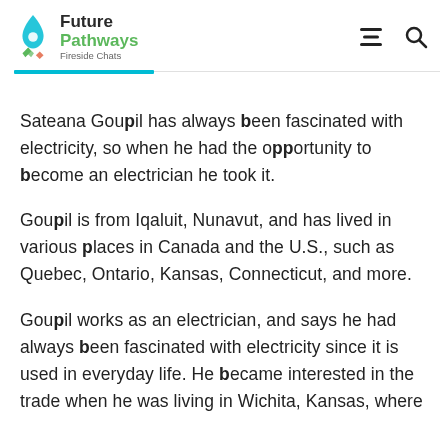Future Pathways Fireside Chats
Sateana Goupil has always been fascinated with electricity, so when he had the opportunity to become an electrician he took it.
Goupil is from Iqaluit, Nunavut, and has lived in various places in Canada and the U.S., such as Quebec, Ontario, Kansas, Connecticut, and more.
Goupil works as an electrician, and says he had always been fascinated with electricity since it is used in everyday life. He became interested in the trade when he was living in Wichita, Kansas, where